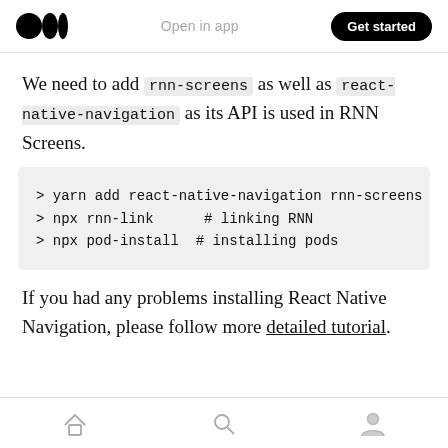Open in app   Get started
We need to add rnn-screens as well as react-native-navigation as its API is used in RNN Screens.
> yarn add react-native-navigation rnn-screens
> npx rnn-link      # linking RNN
> npx pod-install  # installing pods
If you had any problems installing React Native Navigation, please follow more detailed tutorial.
home  search  profile